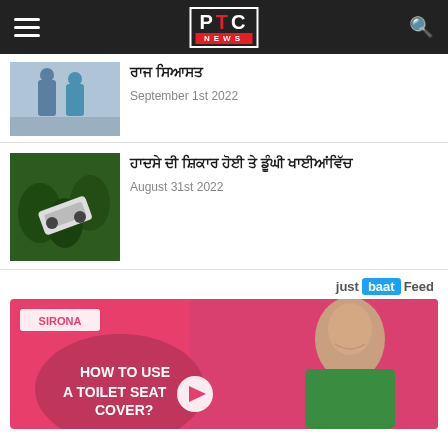PTC NEWS
[Figure (photo): Thumbnail of two people standing]
ਰਾਜ ਸਿਆਸਤ
September 1st 2022
[Figure (photo): Overturned vehicle on a hillside road surrounded by trees]
ਹਾਦਸੇ ਦੀ ਸ਼ਿਕਾਰ ਹੋਈ ਤੇ ਡੂੰਘੀ ਖਾਈਆਂਵਿੱਚ
August 31st 2022
just baat Feed
[Figure (photo): SIRONA advertisement: HOW TO USE A TOILET SEAT COVER? with a woman smiling on a pink background]